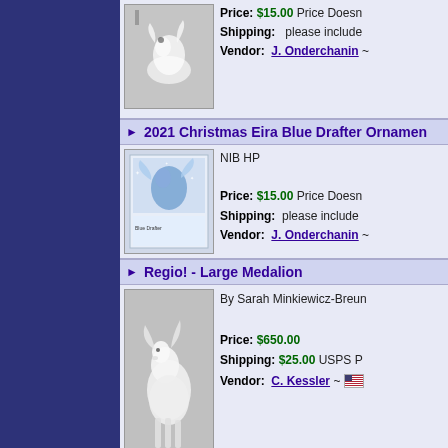[Figure (photo): Horse ornament figure, partial view at top of page]
Price: $15.00 Price Doesn't include Shipping: please include Vendor: J. Onderchanin ~
2021 Christmas Eira Blue Drafter Ornament
[Figure (photo): 2021 Christmas Eira Blue Drafter Ornament in box, blue sparkly horse figure]
NIB HP
Price: $15.00 Price Doesn't include Shipping: please include Vendor: J. Onderchanin ~
Regio! - Large Medalion
[Figure (photo): White/grey horse sculpture on black stand, Regio Large Medallion by Sarah Minkiewicz-Breunig]
By Sarah Minkiewicz-Breunig
Price: $650.00
Shipping: $25.00 USPS P
Vendor: C. Kessler ~ [US flag]
Breyerfest 2004 Special Run Cobrizo
[Figure (photo): Brown/copper colored horse model, Breyerfest 2004 Special Run Cobrizo]
1200 made
Price: $60.00
Shipping: $16.00
Vendor: A. Casali ~ [US flag]